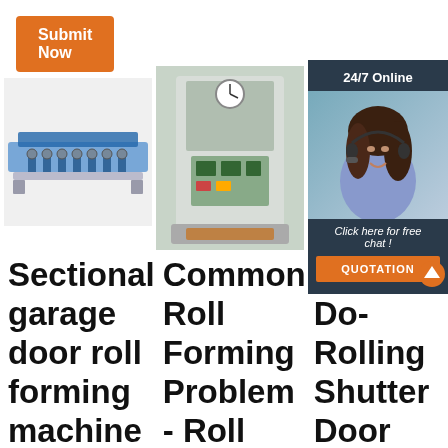Submit Now
[Figure (photo): Roll forming machine with blue metal frame]
[Figure (photo): Large industrial press/punching machine in factory]
[Figure (infographic): 24/7 Online chat widget with woman wearing headset, 'Click here for free chat!' and QUOTATION button]
Sectional garage door roll forming machine -
Common Roll Forming Problem - Roll Forming
Roll Shutter Door Rolling Shutter Door